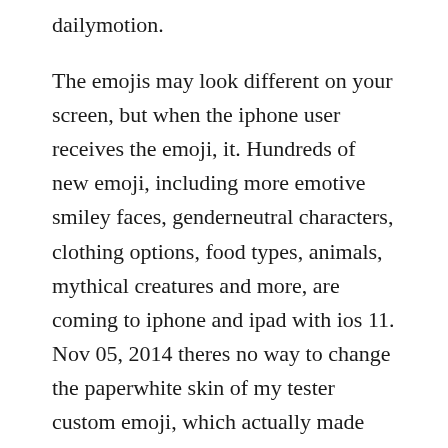dailymotion.
The emojis may look different on your screen, but when the iphone user receives the emoji, it. Hundreds of new emoji, including more emotive smiley faces, genderneutral characters, clothing options, food types, animals, mythical creatures and more, are coming to iphone and ipad with ios 11. Nov 05, 2014 theres no way to change the paperwhite skin of my tester custom emoji, which actually made the end result look a little creepy. And its just so cute to look at to